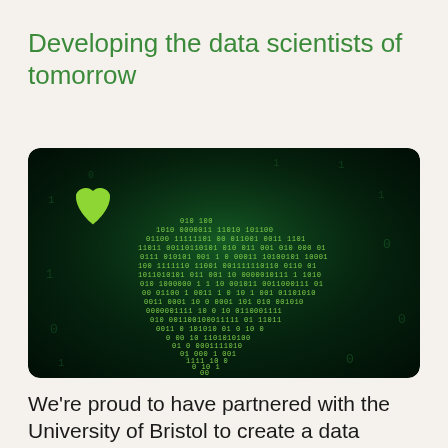Developing the data scientists of tomorrow
[Figure (illustration): Dark green background image showing a heart shape made of binary code (0s and 1s in bright green), with a glowing green heart icon in the upper left and scattered binary digits throughout. The image has rounded corners.]
We're proud to have partnered with the University of Bristol to create a data